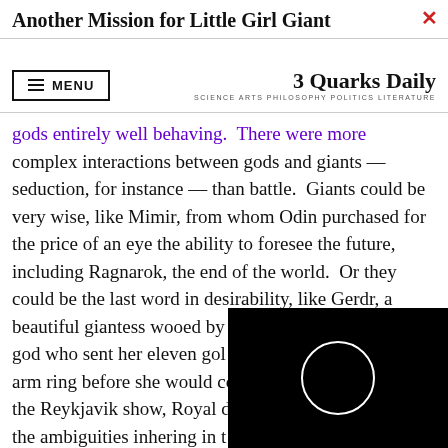Another Mission for Little Girl Giant
MENU | 3 Quarks Daily — SCIENCE ARTS PHILOSOPHY POLITICS LITERATURE
gods entirely well behaving.  There were more complex interactions between gods and giants — seduction, for instance — than battle.  Giants could be very wise, like Mimir, from whom Odin purchased for the price of an eye the ability to foresee the future, including Ragnarok, the end of the world.  Or they could be the last word in desirability, like Gerdr, a beautiful giantess wooed by Freyr, the Norse fertility god who sent her eleven gold arm ring before she would co the Reykjavik show, Royal d the ambiguities inhering in t pitting Little Girl Giant – the
[Figure (screenshot): Black video player overlay with a white circle/loading spinner in the center, with a close (X) button in a circle at the top-right corner of the overlay.]